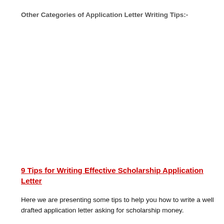Other Categories of Application Letter Writing Tips:-
9 Tips for Writing Effective Scholarship Application Letter
Here we are presenting some tips to help you how to write a well drafted application letter asking for scholarship money.